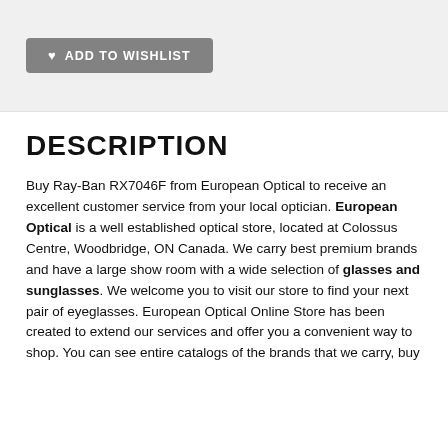[Figure (other): ADD TO WISHLIST button with heart icon on light grey background]
DESCRIPTION
Buy Ray-Ban RX7046F from European Optical to receive an excellent customer service from your local optician. European Optical is a well established optical store, located at Colossus Centre, Woodbridge, ON Canada. We carry best premium brands and have a large show room with a wide selection of glasses and sunglasses. We welcome you to visit our store to find your next pair of eyeglasses. European Optical Online Store has been created to extend our services and offer you a convenient way to shop. You can see entire catalogs of the brands that we carry, buy